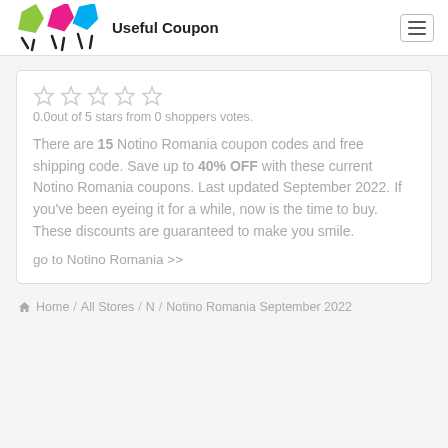Useful Coupon
0.0out of 5 stars from 0 shoppers votes.
There are 15 Notino Romania coupon codes and free shipping code. Save up to 40% OFF with these current Notino Romania coupons. Last updated September 2022. If you've been eyeing it for a while, now is the time to buy. These discounts are guaranteed to make you smile.
go to Notino Romania >>
Home / All Stores / N / Notino Romania September 2022